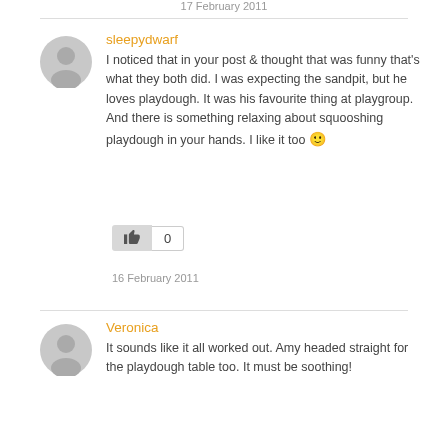17 February 2011
sleepydwarf
I noticed that in your post & thought that was funny that's what they both did. I was expecting the sandpit, but he loves playdough. It was his favourite thing at playgroup. And there is something relaxing about squooshing playdough in your hands. I like it too 🙂
0
16 February 2011
Veronica
It sounds like it all worked out. Amy headed straight for the playdough table too. It must be soothing!